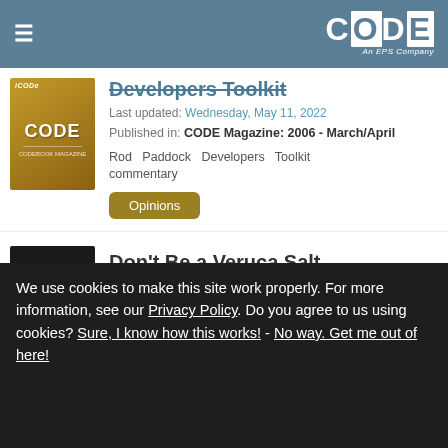CODE Magazine - An EPS Company
Developers Toolkit
Last updated: Wednesday, May 11, 2022
Published in: CODE Magazine: 2006 - March/April
Rod Paddock Developers Toolkit commentary
Opinions
Don't Be a Veruca Salt
We use cookies to make this site work properly. For more information, see our Privacy Policy. Do you agree to us using cookies? Sure, I know how this works! - No way. Get me out of here!